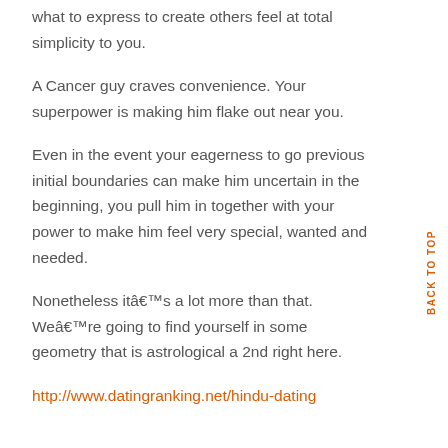what to express to create others feel at total simplicity to you.
A Cancer guy craves convenience. Your superpower is making him flake out near you.
Even in the event your eagerness to go previous initial boundaries can make him uncertain in the beginning, you pull him in together with your power to make him feel very special, wanted and needed.
Nonetheless itâ€™s a lot more than that. Weâ€™re going to find yourself in some geometry that is astrological a 2nd right here.
http://www.datingranking.net/hindu-dating